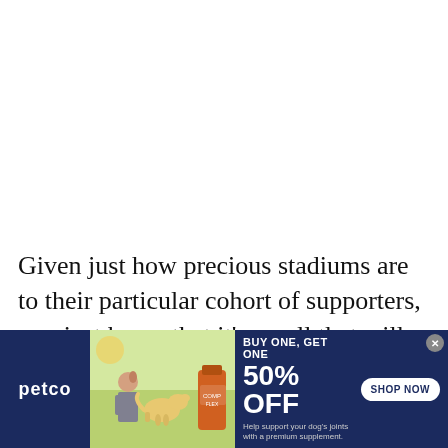Given just how precious stadiums are to their particular cohort of supporters, you just know that it's a poll that will rustle plenty of feathers, so
[Figure (infographic): Petco advertisement banner. Dark navy blue background. Left: Petco logo in white. Center: photo of woman with golden labrador dog and a supplement product bottle on green/outdoor background. Right text: 'BUY ONE, GET ONE 50% OFF' with 'Help support your dog's joints with a premium supplement.' and 'SHOP NOW' button in white with navy text. Close button (x) in top right corner.]